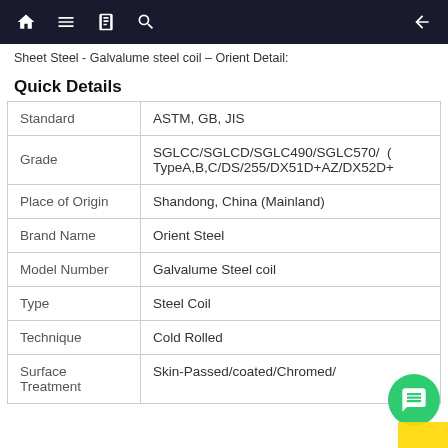Navigation bar with home, menu, book, search, and back icons
Sheet Steel - Galvalume steel coil – Orient Detail:
Quick Details
| Property | Value |
| --- | --- |
| Standard | ASTM, GB, JIS |
| Grade | SGLCC/SGLCD/SGLC490/SGLC570/ TypeA,B,C/DS/255/DX51D+AZ/DX52D+ |
| Place of Origin | Shandong, China (Mainland) |
| Brand Name | Orient Steel |
| Model Number | Galvalume Steel coil |
| Type | Steel Coil |
| Technique | Cold Rolled |
| Surface Treatment | Skin-Passed/coated/Chromed/ |